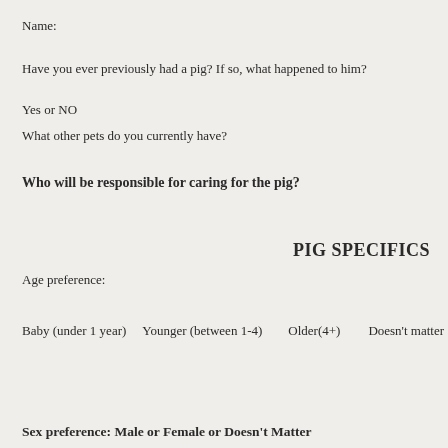Name:
Have you ever previously had a pig? If so, what happened to him?
Yes or NO
What other pets do you currently have?
Who will be responsible for caring for the pig?
PIG SPECIFICS
Age preference:
Baby (under 1 year)    Younger (between 1-4)    Older(4+)    Doesn't matter
Sex preference:  Male or Female or Doesn't Matter